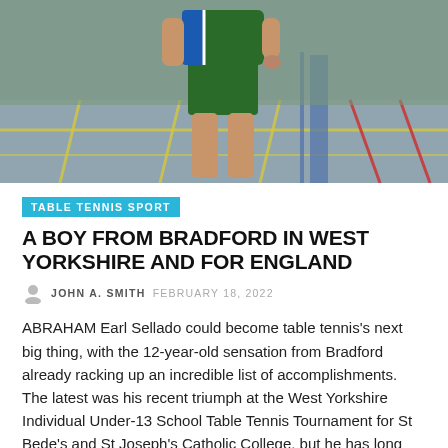[Figure (photo): A young boy in green shorts and a blue/white athletic top standing next to a table tennis table in a sports hall with a yellow and red lined floor.]
TABLE TENNIS SPORT
A BOY FROM BRADFORD IN WEST YORKSHIRE AND FOR ENGLAND
JOHN A. SMITH  FEBRUARY 18, 2022
ABRAHAM Earl Sellado could become table tennis's next big thing, with the 12-year-old sensation from Bradford already racking up an incredible list of accomplishments. The latest was his recent triumph at the West Yorkshire Individual Under-13 School Table Tennis Tournament for St Bede's and St Joseph's Catholic College, but he has long been a